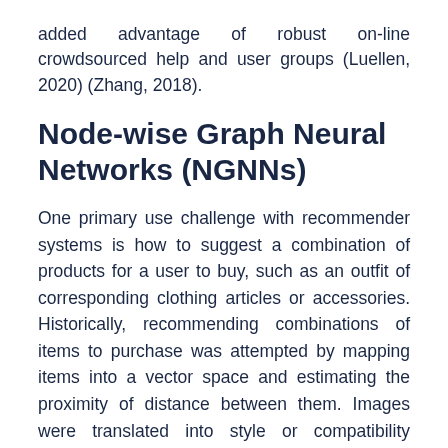added advantage of robust on-line crowdsourced help and user groups (Luellen, 2020) (Zhang, 2018).
Node-wise Graph Neural Networks (NGNNs)
One primary use challenge with recommender systems is how to suggest a combination of products for a user to buy, such as an outfit of corresponding clothing articles or accessories. Historically, recommending combinations of items to purchase was attempted by mapping items into a vector space and estimating the proximity of distance between them. Images were translated into style or compatibility vectors by Siamese CNNs or low rank Mahalanobis